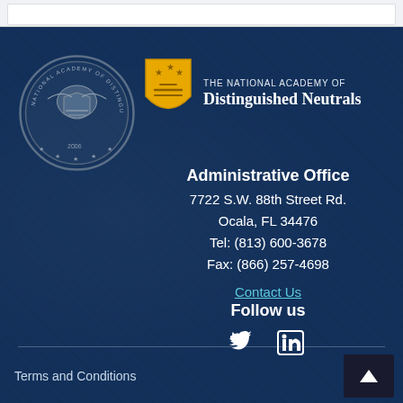[Figure (logo): National Academy of Distinguished Neutrals circular seal in gray/silver tones]
[Figure (logo): Yellow shield logo for The National Academy of Distinguished Neutrals]
THE NATIONAL ACADEMY OF DISTINGUISHED NEUTRALS
Administrative Office
7722 S.W. 88th Street Rd.
Ocala, FL 34476
Tel: (813) 600-3678
Fax: (866) 257-4698
Contact Us
Follow us
[Figure (illustration): Twitter and LinkedIn social media icons in white]
Terms and Conditions